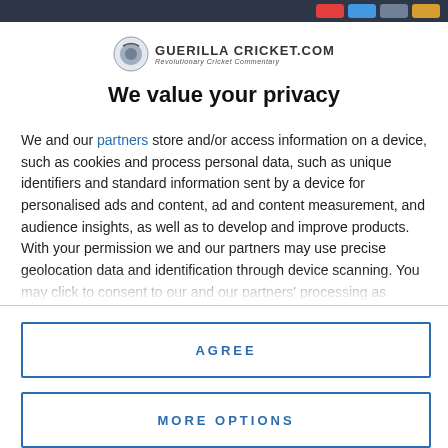GuerillaCricket.com — Revolutionary Cricket Commentary
We value your privacy
We and our partners store and/or access information on a device, such as cookies and process personal data, such as unique identifiers and standard information sent by a device for personalised ads and content, ad and content measurement, and audience insights, as well as to develop and improve products. With your permission we and our partners may use precise geolocation data and identification through device scanning. You may click to consent to our and our partners' processing as described above. Alternatively you may access more detailed information and change your preferences before consenting or to refuse consenting. Please note that some processing of your
AGREE
MORE OPTIONS